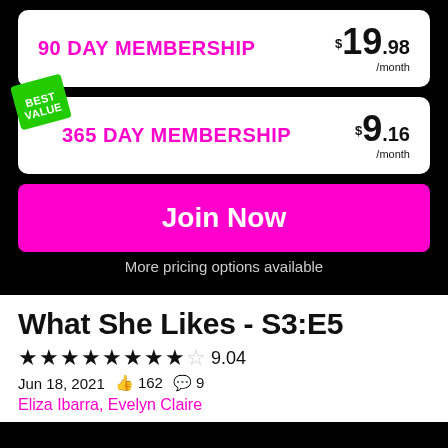90 DAY MEMBERSHIP  $19.98/month
BEST VALUE
365 DAY MEMBERSHIP  $9.16/month
Join Now
More pricing options available
What She Likes - S3:E5
★★★★★★★★☆ 9.04
Jun 18, 2021  👍 162  💬 9
Eliza Ibarra, Evelyn Claire